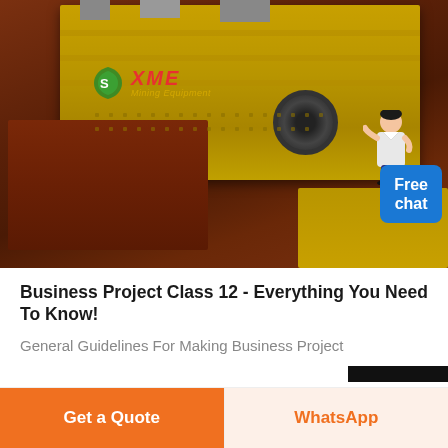[Figure (photo): Industrial mining/vibrating screen equipment in red and yellow colors, with XME Mining Equipment logo overlay and a 'Free chat' badge with a person illustration in the top right corner]
Business Project Class 12 - Everything You Need To Know!
General Guidelines For Making Business Project
Get a Quote
WhatsApp